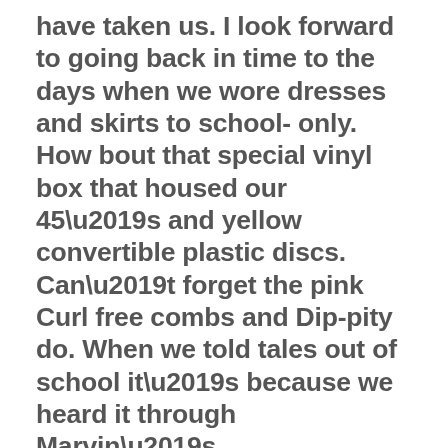have taken us. I look forward to going back in time to the days when we wore dresses and skirts to school- only. How bout that special vinyl box that housed our 45’s and yellow convertible plastic discs. Can’t forget the pink Curl free combs and Dip-pity do. When we told tales out of school it’s because we heard it through Marvin’s “grapevine.” Those were the days my friend when the magnitude of problems was keeping every snap on our one piece blue rompers closed during Mrs. Rudin’s gym class. My first real understanding of brave was Henry Flemings decision to stay at battle on the fields of war or flee and face the